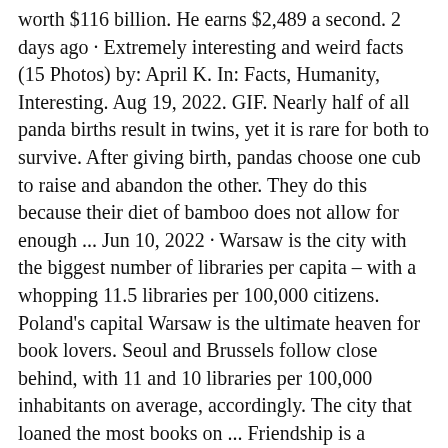worth $116 billion. He earns $2,489 a second. 2 days ago · Extremely interesting and weird facts (15 Photos) by: April K. In: Facts, Humanity, Interesting. Aug 19, 2022. GIF. Nearly half of all panda births result in twins, yet it is rare for both to survive. After giving birth, pandas choose one cub to raise and abandon the other. They do this because their diet of bamboo does not allow for enough ... Jun 10, 2022 · Warsaw is the city with the biggest number of libraries per capita – with a whopping 11.5 libraries per 100,000 citizens. Poland's capital Warsaw is the ultimate heaven for book lovers. Seoul and Brussels follow close behind, with 11 and 10 libraries per 100,000 inhabitants on average, accordingly. The city that loaned the most books on ... Friendship is a relationship that we choose and therefore friends are the special ones. Read stories of true friendships, best friends, school friends and many more from this category. The Boy. Me and Smita. 7 in a Bus. They Drink at Night. The Illusion of 'Zero'. Read all from Friends and Friendships. Nov 22, 2017 · Interesting Stories: The Serial Killer's 175-Year-Old Head In A Jar. Considered by many to be Portugal's first serial killer, Diogo Alves was born in Galicia in 1810 and traveled to Lisbon as a young child to work as a servant in the affluent homes of the capital city. It